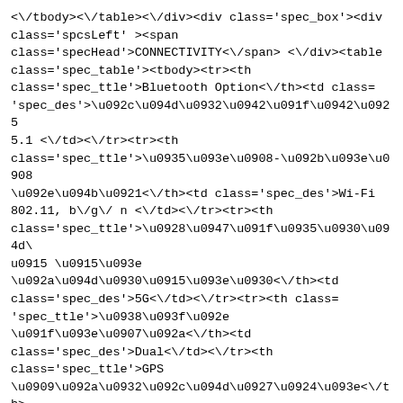<\/tbody><\/table><\/div><div class='spec_box'><div class='spcsLeft' ><span class='specHead'>CONNECTIVITY<\/span> <\/div><table class='spec_table'><tbody><tr><th class='spec_ttle'>Bluetooth Option<\/th><td class='spec_des'>\u092c\u094d\u0932\u0942\u091f\u0942\u0925 5.1 <\/td><\/tr><tr><th class='spec_ttle'>\u0935\u093e\u0908-\u092b\u093e\u0908\u092e\u094b\u0921<\/th><td class='spec_des'>Wi-Fi 802.11, b\/g\/ n <\/td><\/tr><tr><th class='spec_ttle'>\u0928\u0947\u091f\u0935\u0930\u094d\u0915 \u0915\u093e\u092a\u094d\u0930\u0915\u093e\u0930<\/th><td class='spec_des'>5G<\/td><\/tr><tr><th class='spec_ttle'>\u0938\u093f\u092e \u091f\u093e\u0907\u092a<\/th><td class='spec_des'>Dual<\/td><\/tr><th class='spec_ttle'>GPS \u0909\u092a\u0932\u092c\u094d\u0927\u0924\u093e<\/th><td class='spec_des'>\u0939\u093e\u0901 <\/td><\/tr><\/tbody><\/table <\/div><div class='spec_box'><div class='spcsLeft'><span class='specHead'>Processor<\/span> <\/div><table class='spec_table'><tbody>< tr><th class='spec_ttle'>Chipset (SoC)<\/th><td class='spec_des'>\u0938\u094d\u0928\u0948\u092a\u0921\u094d\u0930\u0948\u0917\u0928 865 \u092a\u094d\u0932\u0938<\/td><\/tr><tr><th class='spec_ttle'>\u0906\u0930\u094d\u0915\u093f\u091f\u0947\u0915\u094d\u091a\u0930